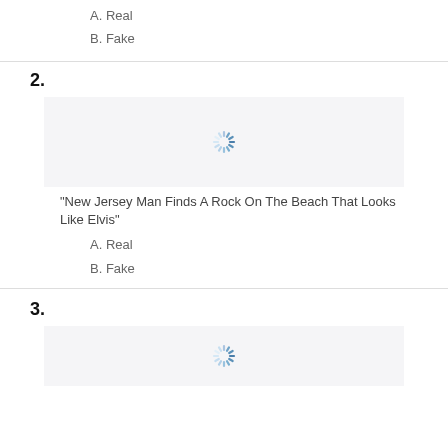A. Real
B. Fake
2.
[Figure (illustration): Loading spinner icon (blue, partial circle with radiating lines)]
"New Jersey Man Finds A Rock On The Beach That Looks Like Elvis"
A. Real
B. Fake
3.
[Figure (illustration): Loading spinner icon (blue, partial circle with radiating lines)]